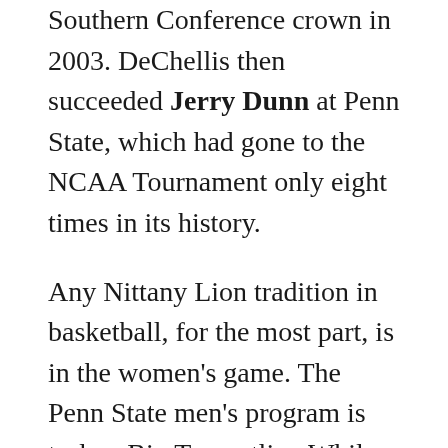Southern Conference crown in 2003. DeChellis then succeeded Jerry Dunn at Penn State, which had gone to the NCAA Tournament only eight times in its history.
Any Nittany Lion tradition in basketball, for the most part, is in the women's game. The Penn State men's program is truly a Big Ten outlier. While five conference foes have advanced to the Final Four since 2000, it hasn't been that deep since 1954.
Nonetheless, under DeChellis, the Nittany